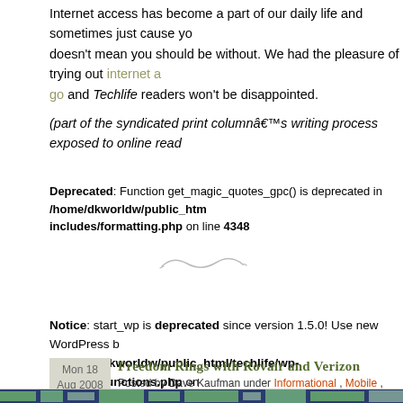Internet access has become a part of our daily life and sometimes just cause you doesn't mean you should be without. We had the pleasure of trying out internet a go and Techlife readers won't be disappointed.
(part of the syndicated print columnâ€™s writing process exposed to online read
Deprecated: Function get_magic_quotes_gpc() is deprecated in /home/dkworldw/public_htm includes/formatting.php on line 4348
[Figure (illustration): Decorative squiggle/tilde divider symbol]
Notice: start_wp is deprecated since version 1.5.0! Use new WordPress b in /home/dkworldw/public_html/techlife/wp-includes/functions.php on
Mon 18 Aug 2008 | Freedom Rings with Rovair and Verizon | Posted by Dave Kaufman under Informational, Mobile, Published Article | No Comments
[Figure (map): Coverage map showing green and blue/navy colored regions representing wireless coverage areas, likely Verizon network coverage map]